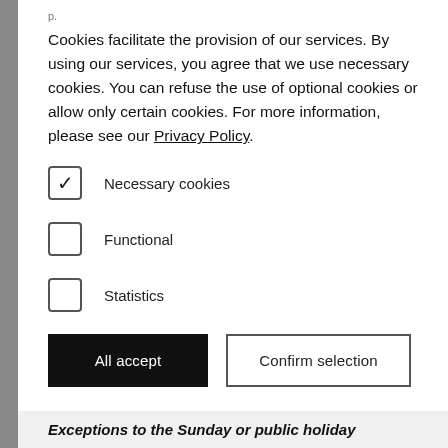Cookies facilitate the provision of our services. By using our services, you agree that we use necessary cookies. You can refuse the use of optional cookies or allow only certain cookies. For more information, please see our Privacy Policy.
☑ Necessary cookies
☐ Functional
☐ Statistics
All accept | Confirm selection
Exceptions to the Sunday or public holiday